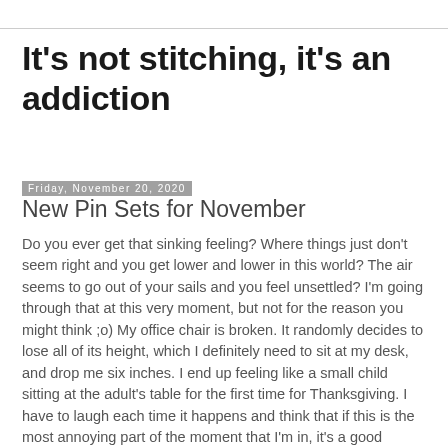It's not stitching, it's an addiction
Friday, November 20, 2020
New Pin Sets for November
Do you ever get that sinking feeling? Where things just don't seem right and you get lower and lower in this world? The air seems to go out of your sails and you feel unsettled? I'm going through that at this very moment, but not for the reason you might think ;o) My office chair is broken. It randomly decides to lose all of its height, which I definitely need to sit at my desk, and drop me six inches. I end up feeling like a small child sitting at the adult's table for the first time for Thanksgiving. I have to laugh each time it happens and think that if this is the most annoying part of the moment that I'm in, it's a good moment.